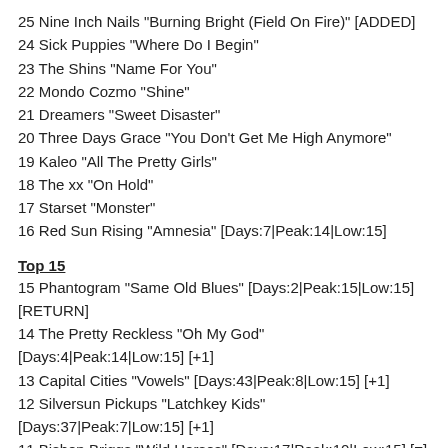25 Nine Inch Nails "Burning Bright (Field On Fire)" [ADDED]
24 Sick Puppies "Where Do I Begin"
23 The Shins "Name For You"
22 Mondo Cozmo "Shine"
21 Dreamers "Sweet Disaster"
20 Three Days Grace "You Don't Get Me High Anymore"
19 Kaleo "All The Pretty Girls"
18 The xx "On Hold"
17 Starset "Monster"
16 Red Sun Rising "Amnesia" [Days:7|Peak:14|Low:15]
Top 15
15 Phantogram "Same Old Blues" [Days:2|Peak:15|Low:15] [RETURN]
14 The Pretty Reckless "Oh My God" [Days:4|Peak:14|Low:15] [+1]
13 Capital Cities "Vowels" [Days:43|Peak:8|Low:15] [+1]
12 Silversun Pickups "Latchkey Kids" [Days:37|Peak:7|Low:15] [+1]
11 Bishop Briggs "Wild Horses" [Days:17|Peak:10|Low:15] [=]
10 Bleeker "Highway" [Days:9|Peak:10|Low:15] [+2]
9 Bob Moses "Tearing Me Up" [Days:34|Peak:9|Low:15] [+1]
8 The Revivalists "Wish I Knew You" [Days:27|Peak:6|Low:15] [+1]
7 Alice Cooper "Paranormal" [Days:10|Peak:3|Low:15] [+1]